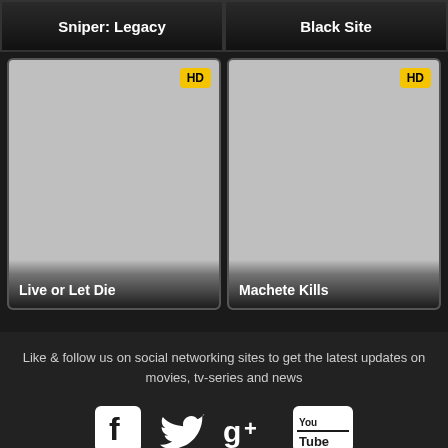Sniper: Legacy
Black Site
[Figure (screenshot): Movie card for 'Live or Let Die' with HD badge, grey placeholder image]
[Figure (screenshot): Movie card for 'Machete Kills' with HD badge, grey placeholder image]
Like & follow us on social networking sites to get the latest updates on movies, tv-series and news
[Figure (infographic): Social media icons: Facebook, Twitter, Google+, YouTube]